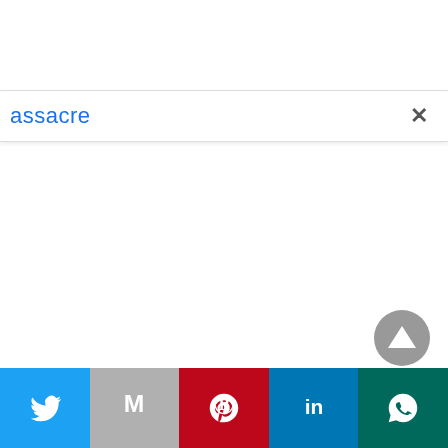[Figure (screenshot): Search bar with blue text 'assacre' and a close (X) button on the right, on a white background with a light border and subtle shadow]
[Figure (screenshot): Scroll-to-top circular gray button with an upward triangle arrow, positioned at bottom right of the main content area]
[Figure (screenshot): Social sharing bar at the bottom with five colored buttons: Twitter (blue bird icon), Gmail (gray M icon), Pinterest (red P icon), LinkedIn (blue 'in' icon), WhatsApp (teal phone icon)]